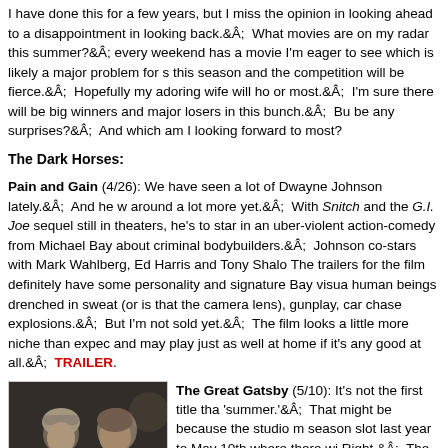I have done this for a few years, but I miss the opinion in looking ahead to a disappointment in looking back. What movies are on my radar this summer? every weekend has a movie I'm eager to see which is likely a major problem for s this season and the competition will be fierce. Hopefully my adoring wife will ho or most. I'm sure there will be big winners and major losers in this bunch. Bu be any surprises? And which am I looking forward to most?
The Dark Horses:
Pain and Gain (4/26): We have seen a lot of Dwayne Johnson lately. And he w around a lot more yet. With Snitch and the G.I. Joe sequel still in theaters, he's to star in an uber-violent action-comedy from Michael Bay about criminal bodybuilders. Johnson co-stars with Mark Wahlberg, Ed Harris and Tony Shalo The trailers for the film definitely have some personality and signature Bay visua human beings drenched in sweat (or is that the camera lens), gunplay, car chase explosions. But I'm not sold yet. The film looks a little more niche than expec and may play just as well at home if it's any good at all. TRAILER.
[Figure (photo): Photo of two actors in a romantic scene from The Great Gatsby - a woman and a man facing each other closely]
The Great Gatsby (5/10): It's not the first title tha 'summer.' That might be because the studio m season slot last year to May 10th where there wi Right. The trailer looks visually arresting and I' getting a 3D release. As a film adaptation direc starring Leonardo DiCaprio, this could be fantas break out at this time of year. TRAILER